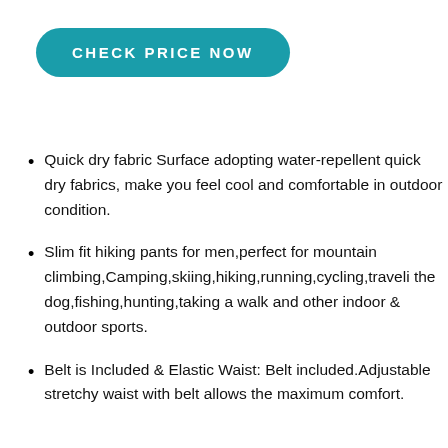CHECK PRICE NOW
Quick dry fabric Surface adopting water-repellent quick dry fabrics, make you feel cool and comfortable in outdoor condition.
Slim fit hiking pants for men,perfect for mountain climbing,Camping,skiing,hiking,running,cycling,traveling the dog,fishing,hunting,taking a walk and other indoor & outdoor sports.
Belt is Included & Elastic Waist: Belt included.Adjustable stretchy waist with belt allows the maximum comfort.